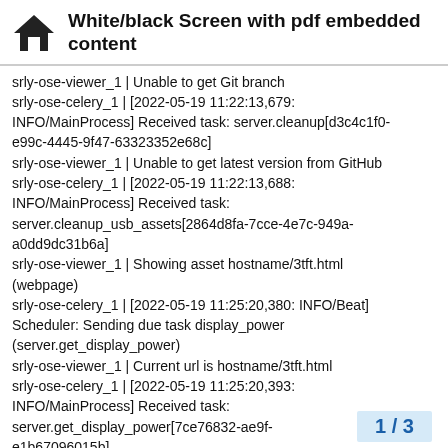White/black Screen with pdf embedded content
srly-ose-viewer_1 | Unable to get Git branch
srly-ose-celery_1 | [2022-05-19 11:22:13,679: INFO/MainProcess] Received task: server.cleanup[d3c4c1f0-e99c-4445-9f47-63323352e68c]
srly-ose-viewer_1 | Unable to get latest version from GitHub
srly-ose-celery_1 | [2022-05-19 11:22:13,688: INFO/MainProcess] Received task: server.cleanup_usb_assets[2864d8fa-7cce-4e7c-949a-a0dd9dc31b6a]
srly-ose-viewer_1 | Showing asset hostname/3tft.html (webpage)
srly-ose-celery_1 | [2022-05-19 11:25:20,380: INFO/Beat] Scheduler: Sending due task display_power (server.get_display_power)
srly-ose-viewer_1 | Current url is hostname/3tft.html
srly-ose-celery_1 | [2022-05-19 11:25:20,393: INFO/MainProcess] Received task: server.get_display_power[7ce76832-ae9f-e1b67096015b]
1 / 3